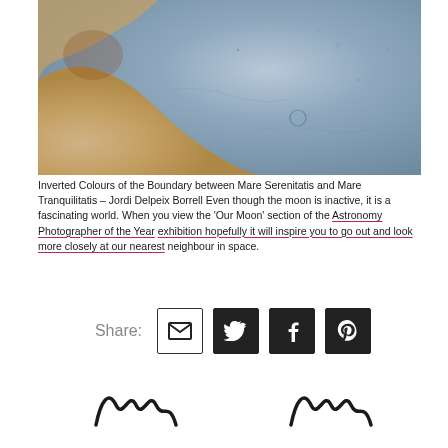[Figure (photo): Close-up false-color image of the boundary between Mare Serenitatis and Mare Tranquilitatis on the Moon, showing blue and tan/sandy textures with craters]
Inverted Colours of the Boundary between Mare Serenitatis and Mare Tranquilitatis – Jordi Delpeix Borrell Even though the moon is inactive, it is a fascinating world. When you view the 'Our Moon' section of the Astronomy Photographer of the Year exhibition hopefully it will inspire you to go out and look more closely at our nearest neighbour in space.
[Figure (infographic): Share buttons row: Share label followed by email, Twitter, Facebook, and Pinterest icon buttons]
[Figure (illustration): Two squiggly wave/sine-wave logo marks at the bottom of the page]